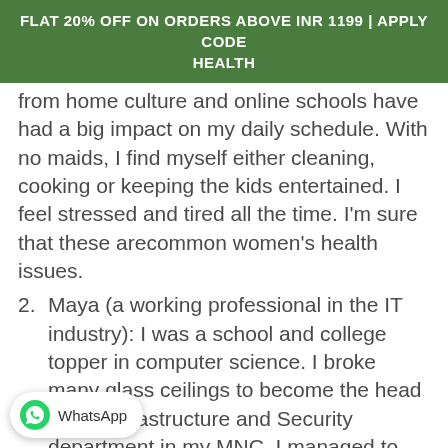FLAT 20% OFF ON ORDERS ABOVE INR 1199 | APPLY CODE HEALTH
from home culture and online schools have had a big impact on my daily schedule. With no maids, I find myself either cleaning, cooking or keeping the kids entertained. I feel stressed and tired all the time. I'm sure that these arecommon women's health issues.
2. Maya (a working professional in the IT industry): I was a school and college topper in computer science. I broke many glass ceilings to become the head of the Infrastructure and Security department in my MNC. I managed to balance my personal